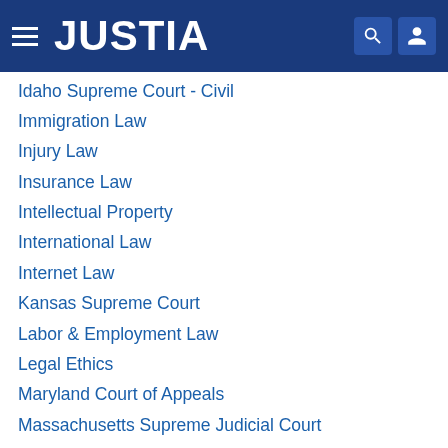JUSTIA
Idaho Supreme Court - Civil
Immigration Law
Injury Law
Insurance Law
Intellectual Property
International Law
Internet Law
Kansas Supreme Court
Labor & Employment Law
Legal Ethics
Maryland Court of Appeals
Massachusetts Supreme Judicial Court
Mergers & Acquisitions
Michigan Supreme Court
Montana Supreme Court
Native American Law
Nebraska Supreme Court
Nevada Supreme Court
New Hampshire Supreme Court